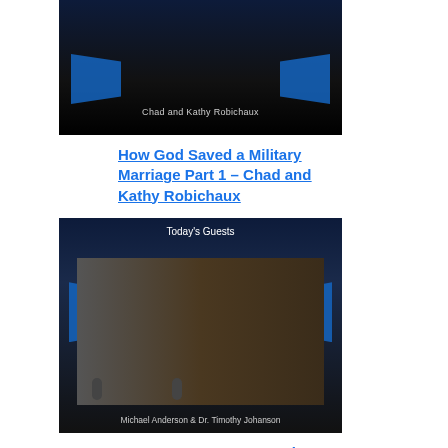[Figure (photo): Thumbnail image for Chad and Kathy Robichaux video, dark background with blue decorative shapes and text overlay reading 'Chad and Kathy Robichaux']
How God Saved a Military Marriage Part 1 – Chad and Kathy Robichaux
[Figure (photo): Thumbnail image showing Today's Guests title card with Michael Anderson and Dr. Timothy Johanson seated at a podcast table with microphones, stone wall background]
Better Ways to Communicate with Your Children Part 2 – Michael Anderson and Timothy Johanson
[Figure (photo): Partial thumbnail image showing Today's Guests title card, dark background with blue decorative shapes, cut off at bottom of page]